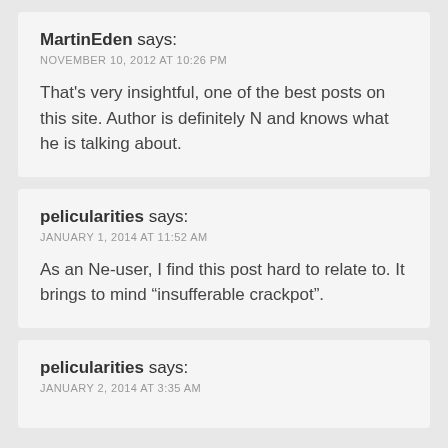MartinEden says:
NOVEMBER 10, 2012 AT 10:26 PM
That’s very insightful, one of the best posts on this site. Author is definitely N and knows what he is talking about.
pelicularities says:
JANUARY 1, 2014 AT 11:52 AM
As an Ne-user, I find this post hard to relate to. It brings to mind “insufferable crackpot”.
pelicularities says:
JANUARY 2, 2014 AT 3:35 AM